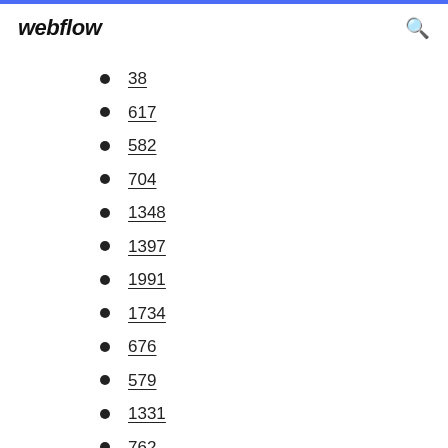webflow
38
617
582
704
1348
1397
1991
1734
676
579
1331
762